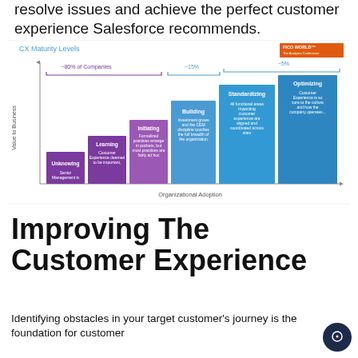resolve issues and achieve the perfect customer experience Salesforce recommends.
[Figure (infographic): CX Maturity Levels diagram showing a staircase progression from Unknowing (~80% of Companies) through Learning, Initiating, Building (~15%), Standardizing, and Optimizing (~5%) stages, with Value to Business on y-axis and Organizational Adoption on x-axis. Purple bracket for first three stages, blue bracket for last two stages. FICO WORLD logo in top right.]
Improving The Customer Experience
Identifying obstacles in your target customer's journey is the foundation for customer